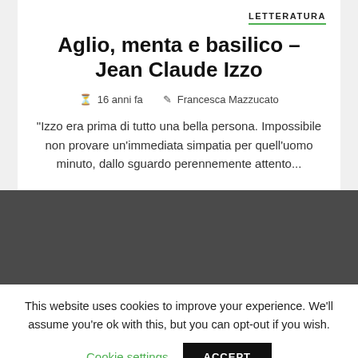LETTERATURA
Aglio, menta e basilico – Jean Claude Izzo
16 anni fa   Francesca Mazzucato
"Izzo era prima di tutto una bella persona. Impossibile non provare un'immediata simpatia per quell'uomo minuto, dallo sguardo perennemente attento...
[Figure (other): Dark grey rectangular block, likely an image placeholder]
This website uses cookies to improve your experience. We'll assume you're ok with this, but you can opt-out if you wish.
Cookie settings   ACCEPT